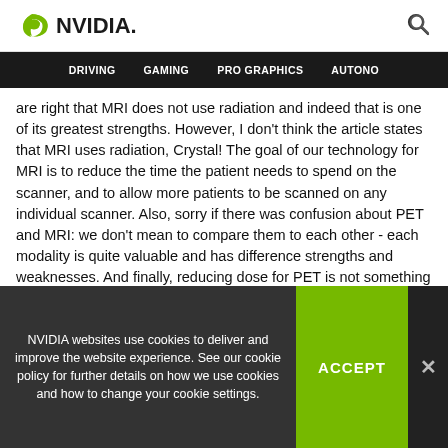NVIDIA. [logo] [search icon]
DRIVING   GAMING   PRO GRAPHICS   AUTONO
are right that MRI does not use radiation and indeed that is one of its greatest strengths. However, I don't think the article states that MRI uses radiation, Crystal! The goal of our technology for MRI is to reduce the time the patient needs to spend on the scanner, and to allow more patients to be scanned on any individual scanner. Also, sorry if there was confusion about PET and MRI: we don't mean to compare them to each other - each modality is quite valuable and has difference strengths and weaknesses. And finally, reducing dose for PET is not something that is performed by the
NVIDIA websites use cookies to deliver and improve the website experience. See our cookie policy for further details on how we use cookies and how to change your cookie settings.
ACCEPT
×